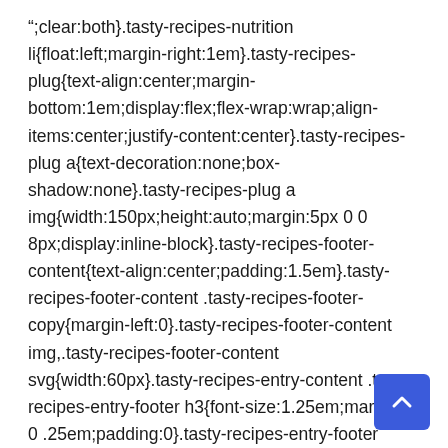"};clear:both}.tasty-recipes-nutrition li{float:left;margin-right:1em}.tasty-recipes-plug{text-align:center;margin-bottom:1em;display:flex;flex-wrap:wrap;align-items:center;justify-content:center}.tasty-recipes-plug a{text-decoration:none;box-shadow:none}.tasty-recipes-plug a img{width:150px;height:auto;margin:5px 0 0 8px;display:inline-block}.tasty-recipes-footer-content{text-align:center;padding:1.5em}.tasty-recipes-footer-content .tasty-recipes-footer-copy{margin-left:0}.tasty-recipes-footer-content img,.tasty-recipes-footer-content svg{width:60px}.tasty-recipes-entry-content .tasty-recipes-entry-footer h3{font-size:1.25em;margin:0 0 .25em;padding:0}.tasty-recipes-entry-footer
[Figure (other): Blue scroll-to-top button with upward arrow chevron in bottom-right corner]